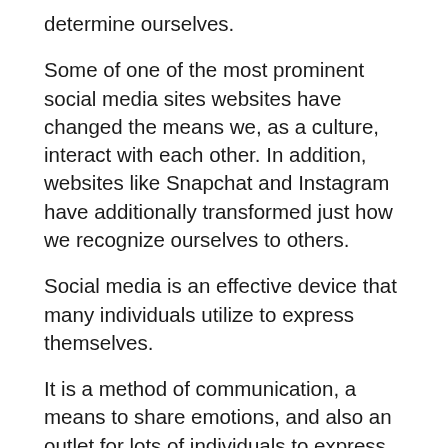determine ourselves.
Some of one of the most prominent social media sites websites have changed the means we, as a culture, interact with each other. In addition, websites like Snapchat and Instagram have additionally transformed just how we recognize ourselves to others.
Social media is an effective device that many individuals utilize to express themselves.
It is a method of communication, a means to share emotions, and also an outlet for lots of individuals to express their imagination. They likewise connect people from all over the world that may not or else have had the opportunity to fulfill.